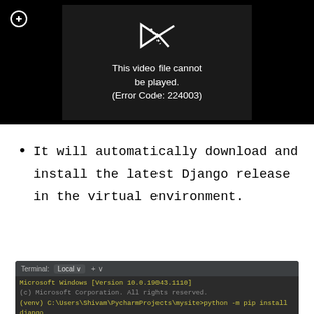[Figure (screenshot): Video player showing error: 'This video file cannot be played. (Error Code: 224003)' on dark background]
It will automatically download and install the latest Django release in the virtual environment.
[Figure (screenshot): Terminal window (PyCharm) showing: Microsoft Windows [Version 10.0.19043.1110], (c) Microsoft Corporation. All rights reserved., (venv) C:\Users\Shivam\PycharmProjects\mysite>python -m pip install django]